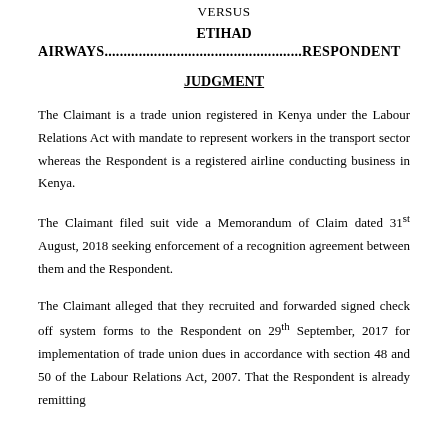VERSUS
ETIHAD
AIRWAYS....................................................RESPONDENT
JUDGMENT
The Claimant is a trade union registered in Kenya under the Labour Relations Act with mandate to represent workers in the transport sector whereas the Respondent is a registered airline conducting business in Kenya.
The Claimant filed suit vide a Memorandum of Claim dated 31st August, 2018 seeking enforcement of a recognition agreement between them and the Respondent.
The Claimant alleged that they recruited and forwarded signed check off system forms to the Respondent on 29th September, 2017 for implementation of trade union dues in accordance with section 48 and 50 of the Labour Relations Act, 2007. That the Respondent is already remitting